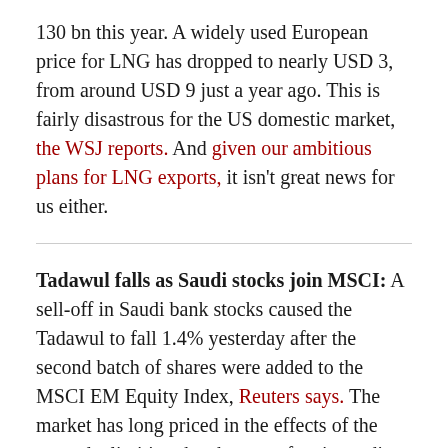130 bn this year. A widely used European price for LNG has dropped to nearly USD 3, from around USD 9 just a year ago. This is fairly disastrous for the US domestic market, the WSJ reports. And given our ambitious plans for LNG exports, it isn't great news for us either.
Tadawul falls as Saudi stocks join MSCI: A sell-off in Saudi bank stocks caused the Tadawul to fall 1.4% yesterday after the second batch of shares were added to the MSCI EM Equity Index, Reuters says. The market has long priced in the effects of the upgrade, limiting the chances of an immediate post-inclusion boost in stocks. The Institute of International Finance said yesterday